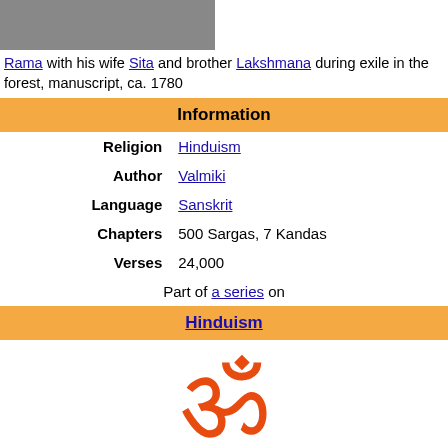[Figure (illustration): Partial image of Rama with his wife Sita and brother Lakshmana, manuscript painting ca. 1780]
Rama with his wife Sita and brother Lakshmana during exile in the forest, manuscript, ca. 1780
| Information |
| --- |
| Religion | Hinduism |
| Author | Valmiki |
| Language | Sanskrit |
| Chapters | 500 Sargas, 7 Kandas |
| Verses | 24,000 |
|  | Part of a series on |
Hinduism
[Figure (illustration): Om symbol in orange/red color]
Hindus
History
Timeline
Origins